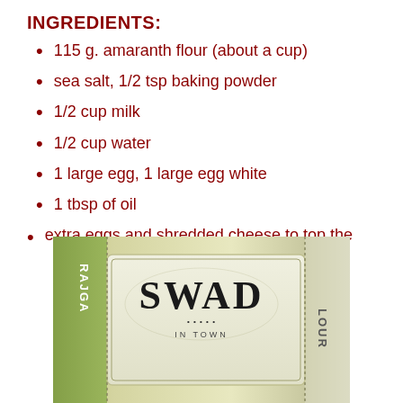INGREDIENTS:
115 g. amaranth flour (about a cup)
sea salt, 1/2 tsp baking powder
1/2 cup milk
1/2 cup water
1 large egg, 1 large egg white
1 tbsp of oil
extra eggs and shredded cheese to top the pancakes
[Figure (photo): A bag of SWAD brand Rajgira (amaranth) flour]